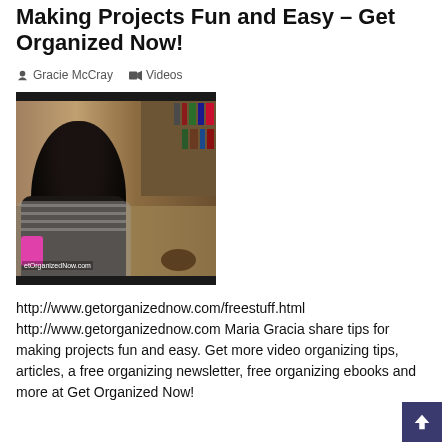Making Projects Fun and Easy – Get Organized Now!
Gracie McCray   Videos
[Figure (photo): Video thumbnail showing a woman with dark hair in a striped top standing in a room with bookshelves. Watermark reads 'etOrganizedNow.com']
http://www.getorganizednow.com/freestuff.html http://www.getorganizednow.com Maria Gracia share tips for making projects fun and easy. Get more video organizing tips, articles, a free organizing newsletter, free organizing ebooks and more at Get Organized Now!